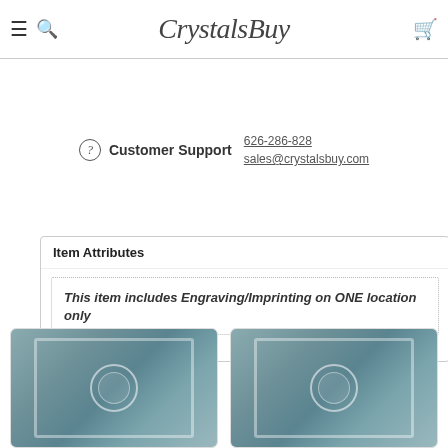CrystalsBuy
Customer Support 626-286-828 sales@crystalsbuy.com
| Item Attributes |
| --- |
| This item includes Engraving/Imprinting on ONE location only |
You may also like
[Figure (photo): Product photo of a crystal award plaque with engraved university student emblem, shown in bluish-grey tones]
[Figure (photo): Product photo of a crystal award plaque with engraved university student emblem, shown in bluish-grey tones]